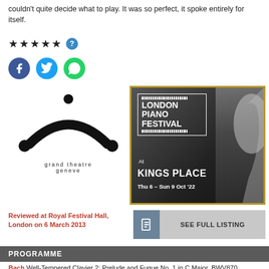couldn't quite decide what to play. It was so perfect, it spoke entirely for itself.
[Figure (other): Five black star rating icons followed by a blue circle with question mark]
[Figure (other): Social share buttons: Facebook (blue circle), Twitter (light blue circle), WhatsApp (green circle)]
[Figure (logo): Grand Theatre Geneve logo - abstract arch with dots above]
[Figure (other): London Piano Festival advertisement banner - At Kings Place, Thu 6 - Sun 9 Oct '22, with gold border and silhouette of pianist]
Reviewed at Royal Festival Hall, London on 6 March 2013
[Figure (other): SEE FULL LISTING button with document icon]
PROGRAMME
Bach  Well-Tempered Clavier 2: Prelude and Fugue No. 1 in C Major, BWV870